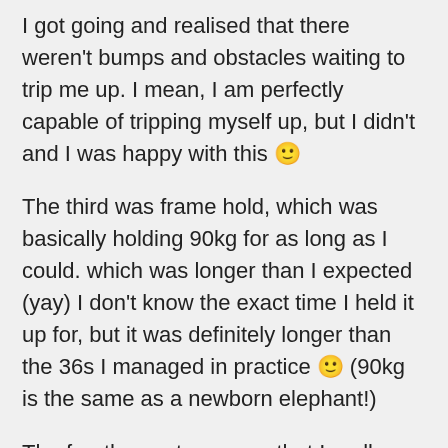I got going and realised that there weren't bumps and obstacles waiting to trip me up. I mean, I am perfectly capable of tripping myself up, but I didn't and I was happy with this 🙂
The third was frame hold, which was basically holding 90kg for as long as I could. which was longer than I expected (yay) I don't know the exact time I held it up for, but it was definitely longer than the 36s I managed in practice 🙂 (90kg is the same as a newborn elephant!)
The fourth event was one that I really wasn't looking forward to. This in its self is probably one of the reasons I didn't do as well as I could! It was the loading medley, which, because the organiser was clearly evil, also included a duck walk. This one was lighter and therefor a little easier to handle but I was slow! So I only managed 2 of the 4 things I had to move. I went